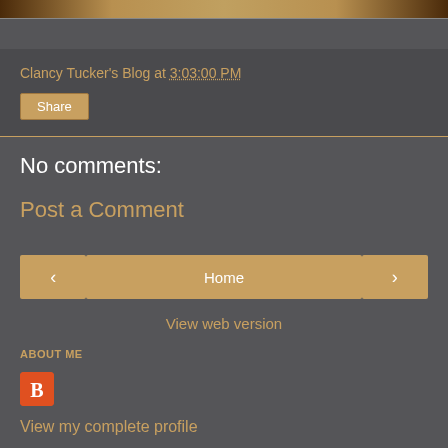[Figure (screenshot): Top image bar showing partial decorative image]
Clancy Tucker's Blog at 3:03:00 PM
Share
No comments:
Post a Comment
< Home >
View web version
ABOUT ME
[Figure (logo): Blogger icon - orange square with B]
View my complete profile